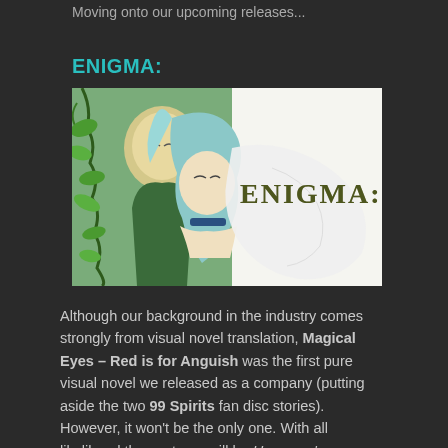Moving onto our upcoming releases...
ENIGMA:
[Figure (illustration): Manga/anime style cover art showing two characters with plant vines, with the text 'ENIGMA:' overlaid in a textured green font on the right side]
Although our background in the industry comes strongly from visual novel translation, Magical Eyes – Red is for Anguish was the first pure visual novel we released as a company (putting aside the two 99 Spirits fan disc stories). However, it won't be the only one. With all likelihood the next one will be Uzumeya's mysterious